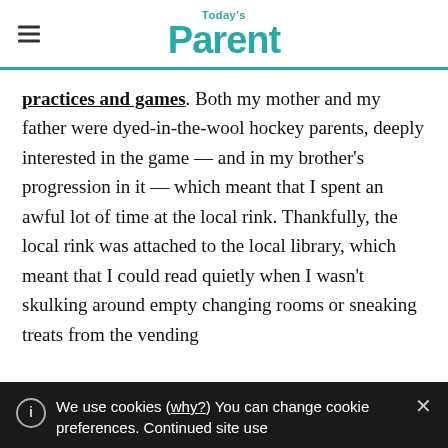Today's Parent
practices and games. Both my mother and my father were dyed-in-the-wool hockey parents, deeply interested in the game — and in my brother's progression in it — which meant that I spent an awful lot of time at the local rink. Thankfully, the local rink was attached to the local library, which meant that I could read quietly when I wasn't skulking around empty changing rooms or sneaking treats from the vending
We use cookies (why?) You can change cookie preferences. Continued site use